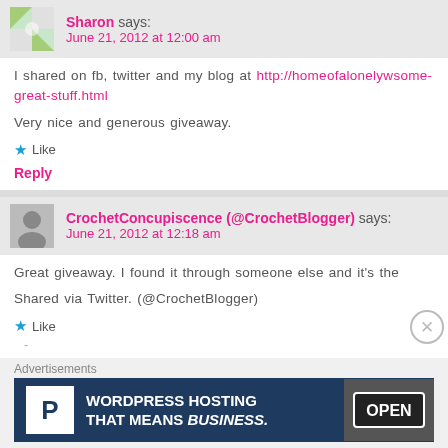Sharon says: June 21, 2012 at 12:00 am
I shared on fb, twitter and my blog at http://homeofalonelywol... some-great-stuff.html
Very nice and generous giveaway.
★ Like
Reply
CrochetConcupiscence (@CrochetBlogger) says: June 21, 2012 at 12:18 am
Great giveaway. I found it through someone else and it's the
Shared via Twitter. (@CrochetBlogger)
★ Like
-
Advertisements
[Figure (screenshot): WordPress Hosting advertisement banner with P logo and OPEN sign photo]